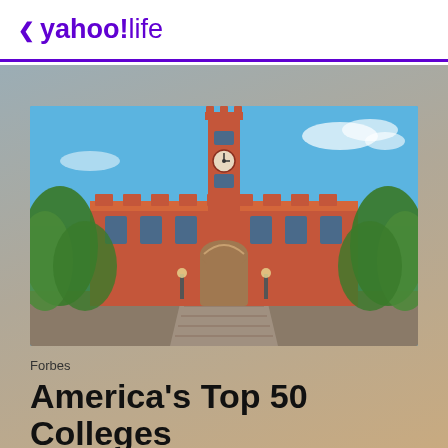< yahoo!life
[Figure (photo): Photograph of a university campus building — a large red brick Gothic-style academic hall with a tall clock tower, framed by green trees under a bright blue sky, with stone stairs leading to an ornate arched entrance.]
Forbes
America's Top 50 Colleges